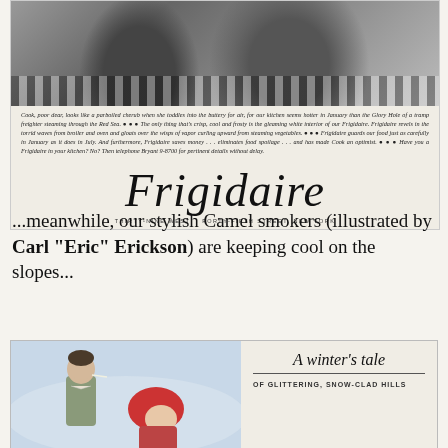[Figure (photo): Vintage black-and-white photograph of a kitchen scene with two figures, checkered floor visible]
Cook, poor dear, looks like a parboiled cherub when she toddles into the buttery for air, for our kitchen seems hotter in January than the Glory Hole of a tramp freighter steaming through the Red Sea. ● ● ● The only thing that's crisp, cool and frosty is the gleaming white interior of our Frigidaire. Frigidaire revels in the torrid waves from broiler and oven and gloats over the wisps of vapor curling upward from steaming vegetables. ● ● ● Frigidaire guards our food just as carefully in January as it does in July. And furthermore, Frigidaire saves money . . . eliminates food spoilage . . . and has made Cook an optimist. ● ● ● Have you a Frigidaire in your kitchen? No? Then telephone Bryant 9-8700 for pertinent details without delay.
[Figure (logo): Frigidaire cursive script logo]
THIRTY-NINE WEST   FORTY-FIFTH STREET, NEW YORK
...meanwhile, our stylish Camel smokers (illustrated by Carl "Eric" Erickson) are keeping cool on the slopes...
[Figure (illustration): Color illustration of a man and woman in winter clothing on ski slopes, part of a Camel cigarettes advertisement titled 'A winter's tale']
A winter's tale
OF GLITTERING, SNOW-CLAD HILLS